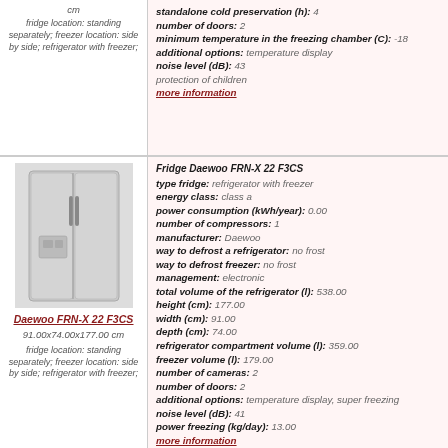cm
fridge location: standing separately; freezer location: side by side; refrigerator with freezer;
number of cameras: 2
standalone cold preservation (h): 4
number of doors: 2
minimum temperature in the freezing chamber (C): -18
additional options: temperature display
noise level (dB): 43
protection of children
more information
[Figure (photo): Side-by-side refrigerator/freezer unit, stainless steel finish, Daewoo FRN-X 22 F3CS]
Daewoo FRN-X 22 F3CS
91.00x74.00x177.00 cm
fridge location: standing separately; freezer location: side by side; refrigerator with freezer;
Fridge Daewoo FRN-X 22 F3CS
type fridge: refrigerator with freezer
energy class: class a
power consumption (kWh/year): 0.00
number of compressors: 1
manufacturer: Daewoo
way to defrost a refrigerator: no frost
way to defrost freezer: no frost
management: electronic
total volume of the refrigerator (l): 538.00
height (cm): 177.00
width (cm): 91.00
depth (cm): 74.00
refrigerator compartment volume (l): 359.00
freezer volume (l): 179.00
number of cameras: 2
number of doors: 2
additional options: temperature display, super freezing
noise level (dB): 41
power freezing (kg/day): 13.00
more information